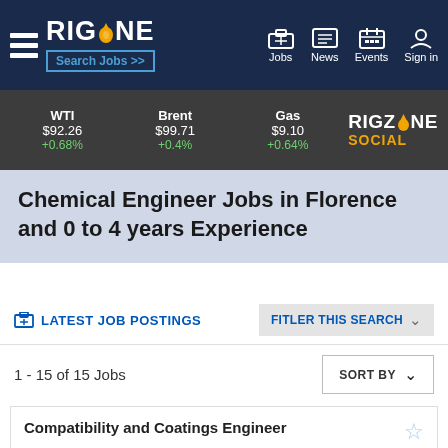RIGZONE — Search Jobs >> | Jobs | News | Events | Sign in
WTI $92.26 +0.68% | Brent $99.71 +0.4% | Gas $9.10 +0.64% | RIGZONE SOCIAL
Chemical Engineer Jobs in Florence and 0 to 4 years Experience
LATEST JOB POSTINGS | FITLER THIS SEARCH
1 - 15 of 15 Jobs
Compatibility and Coatings Engineer
Baker Hughes Featured Employer
Florence, Fi, Italy

We are seeking a highly motivated person with a strong scientific background able to lead research and